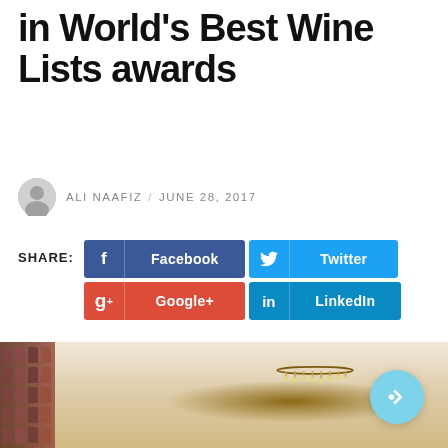in World's Best Wine Lists awards
ALI NAAFIZ / JUNE 28, 2017
SHARE: Facebook Twitter Google+ LinkedIn
[Figure (photo): Interior restaurant photo showing a chandelier with hanging crystal bulbs and a wine shelf on the left side]